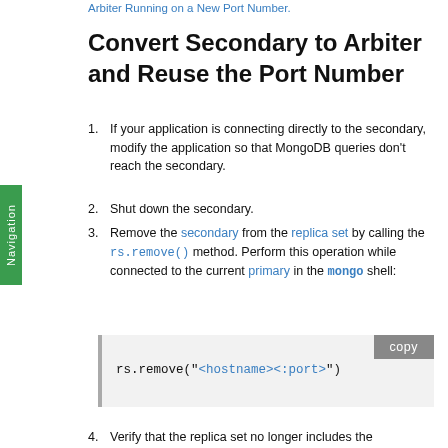Arbiter Running on a New Port Number.
Convert Secondary to Arbiter and Reuse the Port Number
If your application is connecting directly to the secondary, modify the application so that MongoDB queries don't reach the secondary.
Shut down the secondary.
Remove the secondary from the replica set by calling the rs.remove() method. Perform this operation while connected to the current primary in the mongo shell:
[Figure (screenshot): Code block showing: rs.remove("<hostname><:port>") with a copy button]
Verify that the replica set no longer includes the